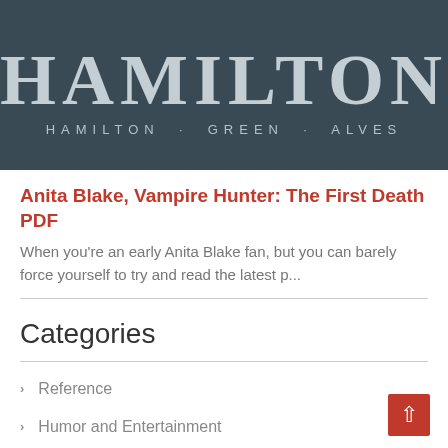[Figure (photo): Book cover with dark background showing 'HAMILTON' in large letters and subtitle 'HAMILTON · GREEN · ALVES']
Anita Blake, Vampire Hunter: The First Death PDF
When you're an early Anita Blake fan, but you can barely force yourself to try and read the latest p...
Categories
Reference
Humor and Entertainment
Textbooks
Romantic Relationships